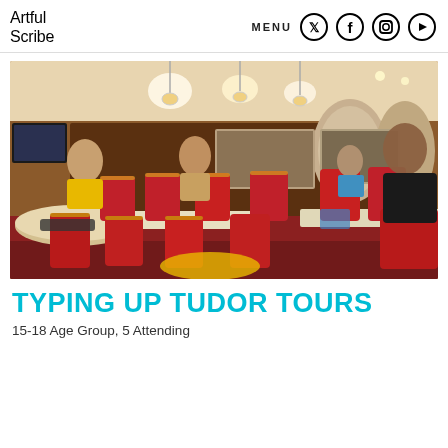Artful Scribe  MENU
[Figure (photo): Students sitting at red chairs around white tables in a wood-panelled room, working on laptops and papers. One student in yellow top on left, a student with long hair in centre, a student in blue top in background, and a student in black top on right foreground.]
TYPING UP TUDOR TOURS
15-18 Age Group, 5 Attending